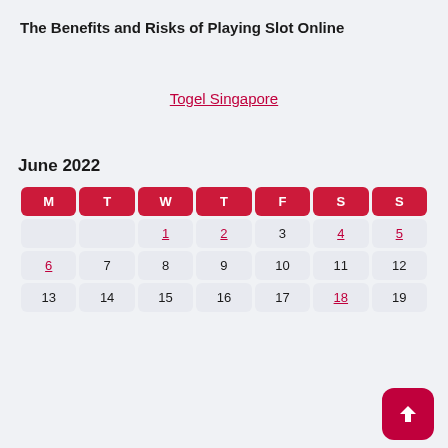The Benefits and Risks of Playing Slot Online
Togel Singapore
June 2022
| M | T | W | T | F | S | S |
| --- | --- | --- | --- | --- | --- | --- |
|  |  | 1 | 2 | 3 | 4 | 5 |
| 6 | 7 | 8 | 9 | 10 | 11 | 12 |
| 13 | 14 | 15 | 16 | 17 | 18 | 19 |